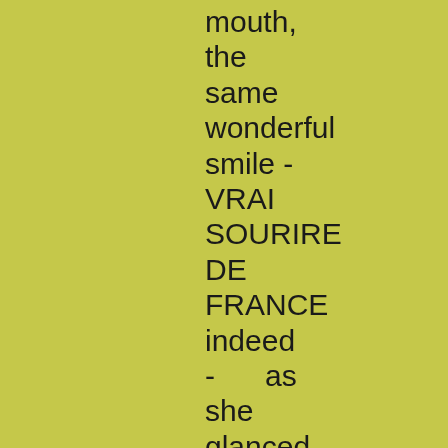mouth, the same wonderful smile - VRAI SOURIRE DE FRANCE indeed - as she glanced up now and then at the window.